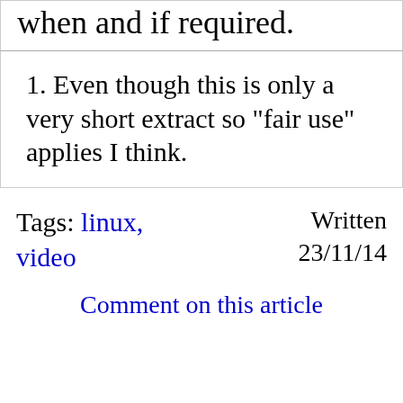when and if required.
1. Even though this is only a very short extract so "fair use" applies I think.
Tags: linux, video    Written 23/11/14
Comment on this article